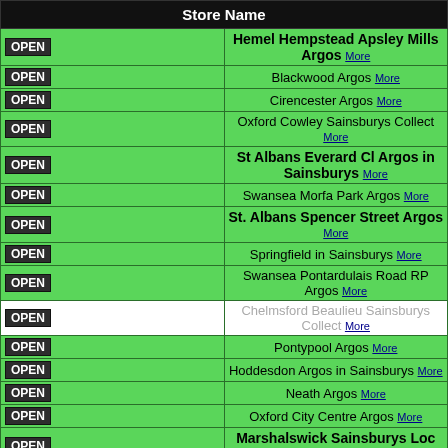| Store Name |
| --- |
| OPEN | Hemel Hempstead Apsley Mills Argos More |
| OPEN | Blackwood Argos More |
| OPEN | Cirencester Argos More |
| OPEN | Oxford Cowley Sainsburys Collect More |
| OPEN | St Albans Everard Cl Argos in Sainsburys More |
| OPEN | Swansea Morfa Park Argos More |
| OPEN | St. Albans Spencer Street Argos More |
| OPEN | Springfield in Sainsburys More |
| OPEN | Swansea Pontardulais Road RP Argos More |
| OPEN | Chelmsford Beaulieu Sainsburys Collect More |
| OPEN | Pontypool Argos More |
| OPEN | Hoddesdon Argos in Sainsburys More |
| OPEN | Neath Argos More |
| OPEN | Oxford City Centre Argos More |
| OPEN | Marshalswick Sainsburys Loc Collect More |
| OPEN | Oxford Headington Sainsburys Collect More |
| OPEN | Harlow Argos in Sainsburys More |
| OPEN | Stroud Argos in Sainsburys More |
| OPEN | Woodhall Farm in Sainsburys More |
| OPEN | Swansea Gorseinon Sainsburys Collection More |
| OPEN | Harlow Retail Park Argos More |
| OPEN | ... |